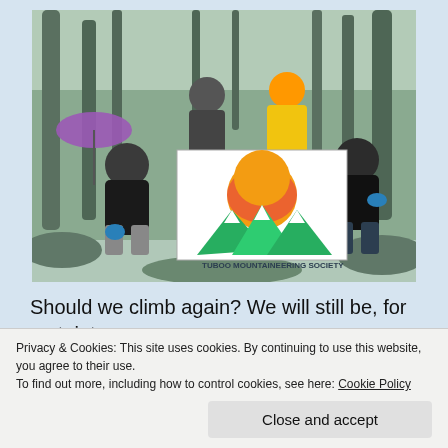[Figure (photo): Four mountaineers posing outdoors in a misty forest, holding a banner reading 'TUBOO MOUNTAINEERING SOCIETY' with a logo showing mountains and a sun. One person holds a purple umbrella, another wears a yellow jacket.]
Should we climb again? We will still be, for certainty. Hopefully, our story will help yours in the future. What's
Privacy & Cookies: This site uses cookies. By continuing to use this website, you agree to their use.
To find out more, including how to control cookies, see here: Cookie Policy
Close and accept